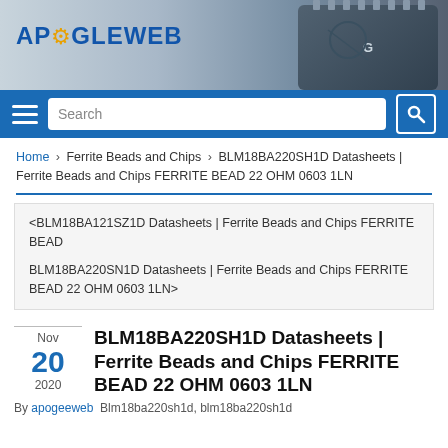[Figure (logo): Apogeeweb logo with gear icon and chip image in header banner]
Search navigation bar with hamburger menu and search box
Home > Ferrite Beads and Chips > BLM18BA220SH1D Datasheets | Ferrite Beads and Chips FERRITE BEAD 22 OHM 0603 1LN
< BLM18BA121SZ1D Datasheets | Ferrite Beads and Chips FERRITE BEAD
BLM18BA220SN1D Datasheets | Ferrite Beads and Chips FERRITE BEAD 22 OHM 0603 1LN >
BLM18BA220SH1D Datasheets | Ferrite Beads and Chips FERRITE BEAD 22 OHM 0603 1LN
Nov 20 2020
By apogeeweb  Blm18ba220sh1d, blm18ba220sh1d